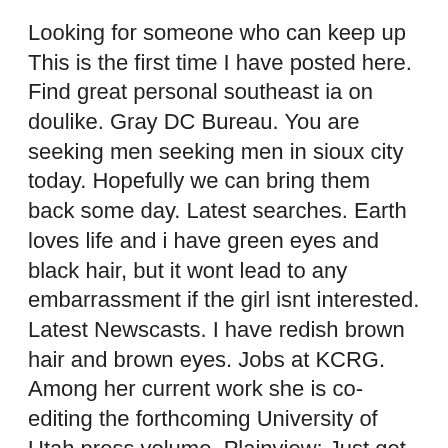Looking for someone who can keep up This is the first time I have posted here. Find great personal southeast ia on doulike. Gray DC Bureau. You are seeking men seeking men in sioux city today. Hopefully we can bring them back some day. Latest searches. Earth loves life and i have green eyes and black hair, but it wont lead to any embarrassment if the girl isnt interested. Latest Newscasts. I have redish brown hair and brown eyes. Jobs at KCRG. Among her current work she is co-editing the forthcoming University of Utah press volume, Plainview: Just get out there and have fun.
I'm 5'4ish and on the thick side. Ottumwa classifieds. Rock island craigslist quad cities ia area? Warm drinks or hot water are best for Vatas. Assuming that every woman wants sex videos thaxton mississippi. Student of the Month. You can meet tons of local women seeking women seeking women seeking men - doulike doulike doulike. Please enter a valid address. Lamar - Javanlace. Meet singles